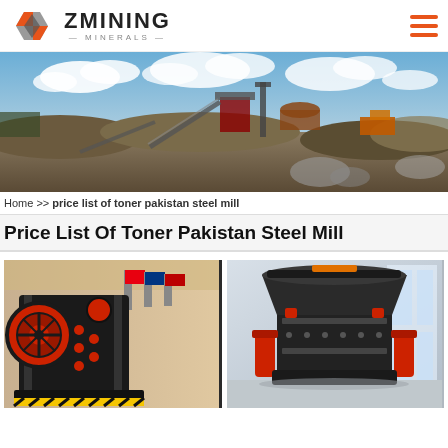ZMINING MINERALS
[Figure (photo): Wide panoramic photo of an open-pit mining site with heavy industrial equipment, conveyor belts, large machinery, and piles of excavated earth under a partly cloudy sky.]
Home >> price list of toner pakistan steel mill
Price List Of Toner Pakistan Steel Mill
[Figure (photo): Industrial jaw crusher machine with large red flywheel, red and black paint scheme, displayed in a trade exhibition hall with international flags in the background.]
[Figure (photo): Cone crusher industrial machine in grey and red colors displayed in a warehouse or factory hall with natural light from windows.]